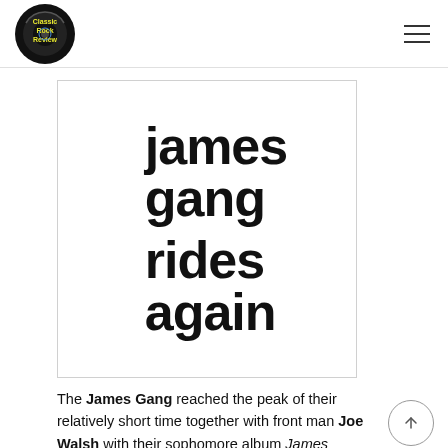Classic Rock Review
[Figure (illustration): Album cover for James Gang Rides Again — bold black text on white background reading 'james gang rides again' in large condensed sans-serif font]
The James Gang reached the peak of their relatively short time together with front man Joe Walsh with their sophomore album James Gang Rides